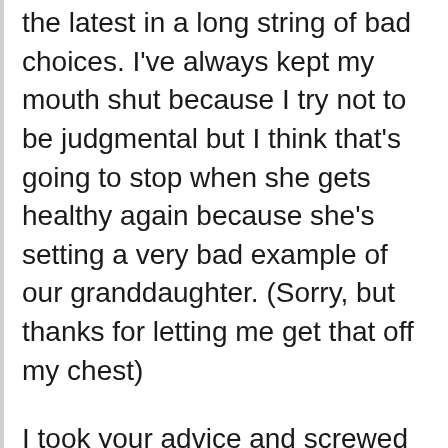the latest in a long string of bad choices. I've always kept my mouth shut because I try not to be judgmental but I think that's going to stop when she gets healthy again because she's setting a very bad example of our granddaughter. (Sorry, but thanks for letting me get that off my chest)
I took your advice and screwed 2x4s to the front top rails of the shelving units. They made them more rigid and provided a good level reference point. I couldn't mount 2x4s on the back rail so I set a bunch of them flat where the top shelves went and then used shims to level up the back edge